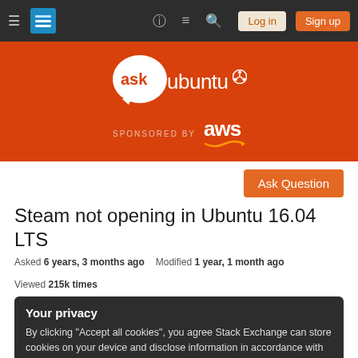Ask Ubuntu navigation bar with Log in and Sign up buttons
[Figure (logo): Ask Ubuntu logo with speech bubble and ubuntu circle of friends icon, with AWS sponsored by banner below]
Ask Question (button)
Steam not opening in Ubuntu 16.04 LTS
Asked 6 years, 3 months ago   Modified 1 year, 1 month ago   Viewed 215k times
Your privacy
By clicking "Accept all cookies", you agree Stack Exchange can store cookies on your device and disclose information in accordance with our Cookie Policy.
Accept all cookies   Customize settings
googling if need be. I just installed Steam for Ubuntu